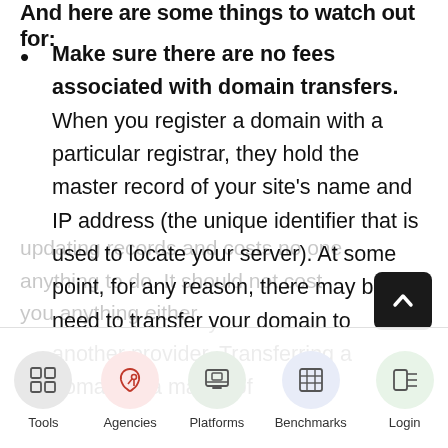And here are some things to watch out for:
Make sure there are no fees associated with domain transfers. When you register a domain with a particular registrar, they hold the master record of your site's name and IP address (the unique identifier that is used to locate your server). At some point, for any reason, there may be a need to transfer your domain to another provider. Transferring a domain is a matter of updating records and costs no one anything to do. It should not cost you anything either.
[Figure (infographic): Navigation bar with five icons: Tools, Agencies, Platforms, Benchmarks, Login. Circular icon buttons with pastel backgrounds. A dark scroll-to-top button in bottom right.]